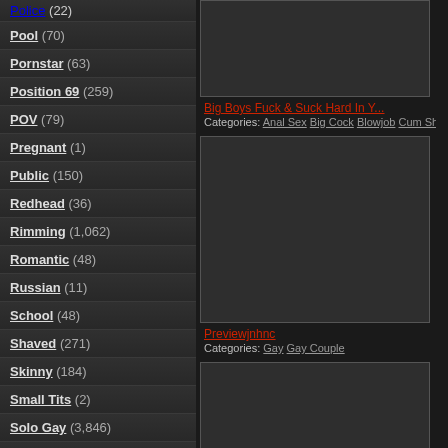Police (22)
Pool (70)
Pornstar (63)
Position 69 (259)
POV (79)
Pregnant (1)
Public (150)
Redhead (36)
Rimming (1,062)
Romantic (48)
Russian (11)
School (48)
Shaved (271)
Skinny (184)
Small Tits (2)
Solo Gay (3,846)
Solo Girl (25)
[Figure (screenshot): Video thumbnail placeholder dark rectangle]
Big Boys Fuck & Suck Hard In Y...
Categories: Anal Sex Big Cock Blowjob Cum Shot
[Figure (screenshot): Video thumbnail placeholder large dark rectangle]
Previewjnhnc
Categories: Gay Gay Couple
[Figure (screenshot): Video thumbnail placeholder bottom dark rectangle]